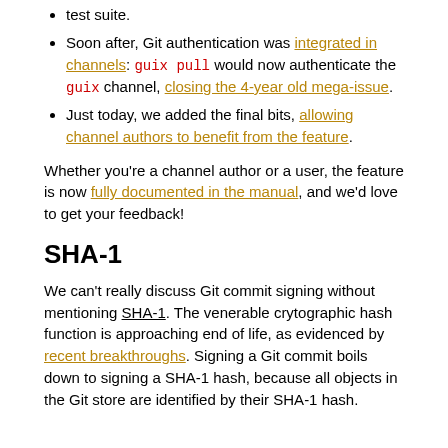test suite.
Soon after, Git authentication was integrated in channels: guix pull would now authenticate the guix channel, closing the 4-year old mega-issue.
Just today, we added the final bits, allowing channel authors to benefit from the feature.
Whether you're a channel author or a user, the feature is now fully documented in the manual, and we'd love to get your feedback!
SHA-1
We can't really discuss Git commit signing without mentioning SHA-1. The venerable crytographic hash function is approaching end of life, as evidenced by recent breakthroughs. Signing a Git commit boils down to signing a SHA-1 hash, because all objects in the Git store are identified by their SHA-1 hash.